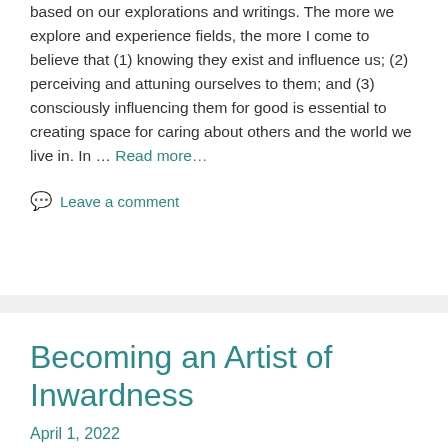based on our explorations and writings. The more we explore and experience fields, the more I come to believe that (1) knowing they exist and influence us; (2) perceiving and attuning ourselves to them; and (3) consciously influencing them for good is essential to creating space for caring about others and the world we live in. In … Read more…
Leave a comment
Becoming an Artist of Inwardness
April 1, 2022